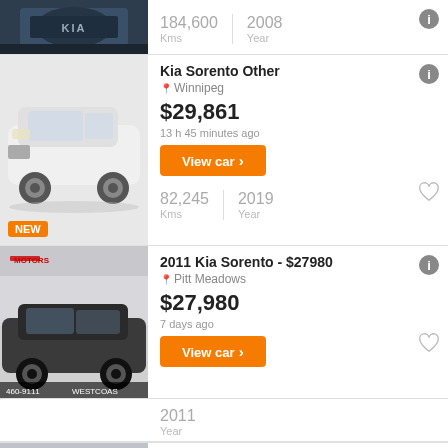[Figure (photo): Partial top of a dark Kia vehicle grille, KIA logo visible]
184,600 Kms | 2008 Year
[Figure (photo): White Kia Sorento SUV on white background with NEW badge]
Kia Sorento Other
Winnipeg
$29,861
13 h 45 minutes ago
View car >
82,245 Kms | 2019 Year
[Figure (photo): Dark grey 2011 Kia Sorento SUV at a dealership with 460-9111 WESTCOAST text]
2011 Kia Sorento - $27980
Pitt Meadows
$27,980
7 days ago
View car >
2011 Year
[Figure (photo): Partial photo of a dealership building, MOTORS sign visible]
2013 Kia Forte - $17995
Pitt Meadows